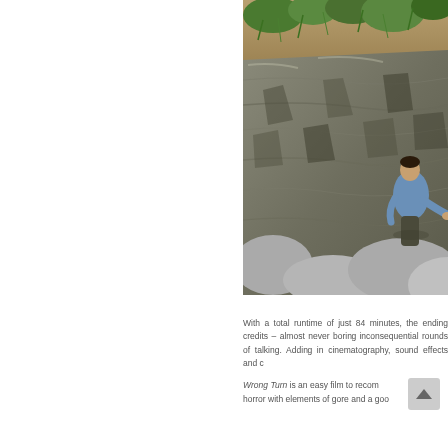[Figure (photo): A man in a blue shirt climbing or leaning on rocky terrain with vegetation and greenery at the top of a rocky cliff face. Shot from below looking up at the rocks.]
With a total runtime of just 84 minutes, the ending credits – almost never boring inconsequential rounds of talking. Adding in cinematography, sound effects and c
Wrong Turn is an easy film to recom horror with elements of gore and a goo